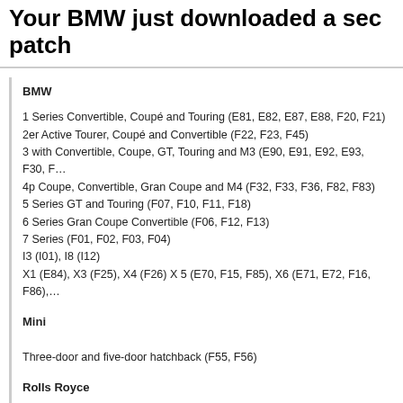Your BMW just downloaded a security patch
BMW
1 Series Convertible, Coupé and Touring (E81, E82, E87, E88, F20, F21)
2er Active Tourer, Coupé and Convertible (F22, F23, F45)
3 with Convertible, Coupe, GT, Touring and M3 (E90, E91, E92, E93, F30, F…)
4p Coupe, Convertible, Gran Coupe and M4 (F32, F33, F36, F82, F83)
5 Series GT and Touring (F07, F10, F11, F18)
6 Series Gran Coupe Convertible (F06, F12, F13)
7 Series (F01, F02, F03, F04)
I3 (I01), I8 (I12)
X1 (E84), X3 (F25), X4 (F26) X 5 (E70, F15, F85), X6 (E71, E72, F16, F86),…

Mini

Three-door and five-door hatchback (F55, F56)

Rolls Royce

Phantom Coupe and Drophead Coupe (RR1, RR2, RR3)
Ghost (RR4)
Wrait (RR5)
Article source: http://www.engadget.com/2015/01/31/bmw-connected-drive-pa…